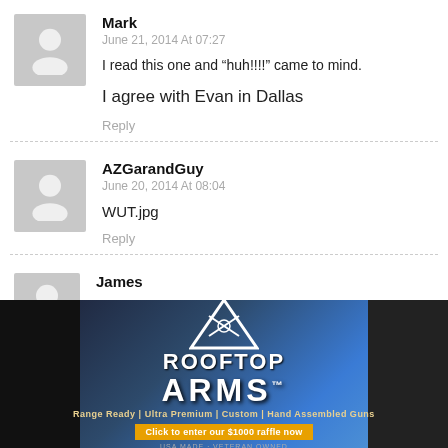Mark
June 21, 2014 At 07:27
I read this one and “huh!!!!” came to mind.
I agree with Evan in Dallas
Reply
AZGarandGuy
June 20, 2014 At 08:04
WUT.jpg
Reply
James
s of tyranny
tins two
[Figure (photo): Rooftop Arms advertisement banner with logo, firearm imagery on dark background, tagline 'Range Ready | Ultra Premium | Custom | Hand Assembled Guns', CTA 'Click to enter our $1000 raffle now', 'USA MADE - VETERAN OWNED']